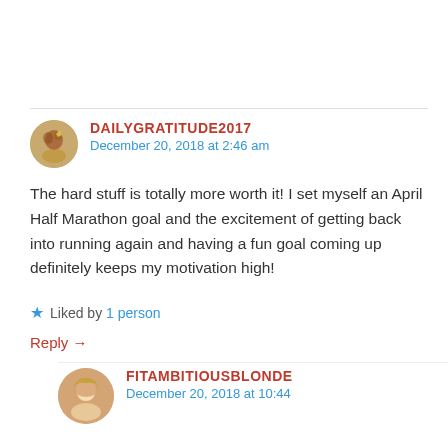DAILYGRATITUDE2017
December 20, 2018 at 2:46 am
The hard stuff is totally more worth it! I set myself an April Half Marathon goal and the excitement of getting back into running again and having a fun goal coming up definitely keeps my motivation high!
Liked by 1 person
Reply →
FITAMBITIOUSBLONDE
December 20, 2018 at 10:44